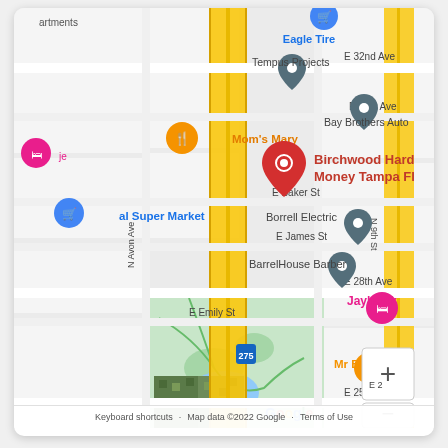[Figure (map): Google Maps screenshot showing Birchwood Hard Money Tampa FL location marked with a red pin, surrounded by nearby landmarks including Mom's Mary (orange food pin), Bay Brothers Auto, Borrell Electric, BarrelHouse Barber, Jayhawk (pink lodging pin), Mr B's (orange food pin), Robles Park Center, Eagle Tire (blue shopping pin), Tempus Projects. Streets visible include E 32nd Ave, E 31st Ave, E Baker St, E James St, E 28th Ave, E Emily St, E 25th Ave, N Avon Ave, N 9th St. Interstate 275 runs vertically through center as yellow road. Google logo and map attribution visible at bottom.]